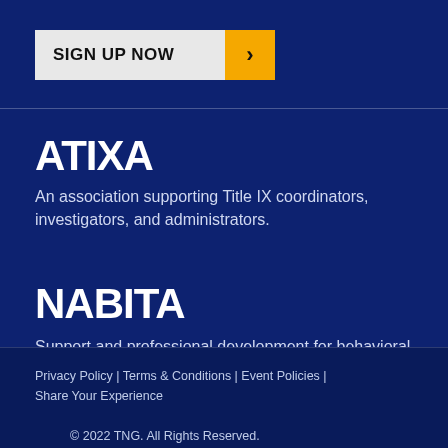[Figure (logo): SIGN UP NOW button with orange arrow chevron]
[Figure (logo): ATIXA logo in white stylized text]
An association supporting Title IX coordinators, investigators, and administrators.
[Figure (logo): NABITA logo in white stylized text]
Support and professional development for behavioral intervention team members.
Privacy Policy | Terms & Conditions | Event Policies | Share Your Experience
© 2022 TNG. All Rights Reserved.